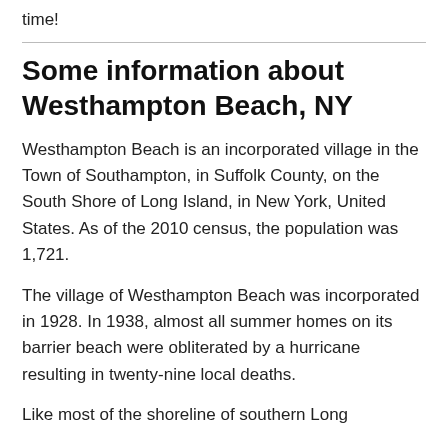time!
Some information about Westhampton Beach, NY
Westhampton Beach is an incorporated village in the Town of Southampton, in Suffolk County, on the South Shore of Long Island, in New York, United States. As of the 2010 census, the population was 1,721.
The village of Westhampton Beach was incorporated in 1928. In 1938, almost all summer homes on its barrier beach were obliterated by a hurricane resulting in twenty-nine local deaths.
Like most of the shoreline of southern Long